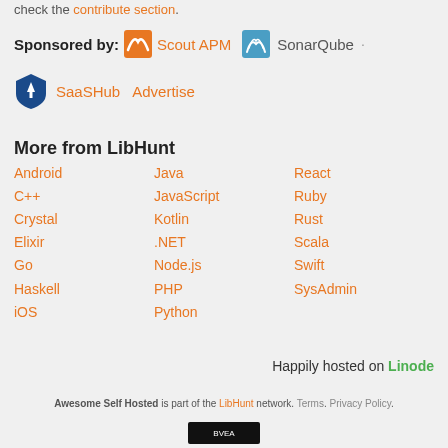check the contribute section.
Sponsored by: Scout APM · SonarQube · SaaSHub Advertise
More from LibHunt
Android
C++
Crystal
Elixir
Go
Haskell
iOS
Java
JavaScript
Kotlin
.NET
Node.js
PHP
Python
React
Ruby
Rust
Scala
Swift
SysAdmin
Happily hosted on Linode
Awesome Self Hosted is part of the LibHunt network. Terms. Privacy Policy.